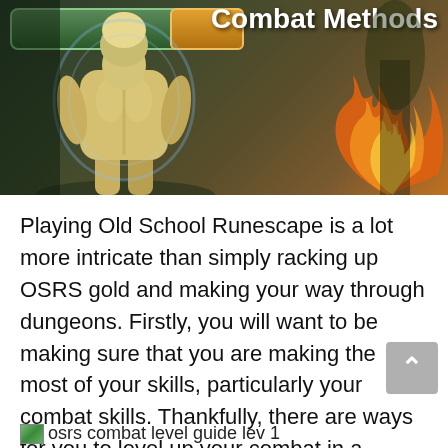[Figure (illustration): Banner image showing a muscular fantasy game character (viewed from behind) with glowing effects, set against a dark forest/dungeon background with fire. A UI element and orange button visible at top-left. Title 'Combat Methods' at top-right in white bold text.]
Playing Old School Runescape is a lot more intricate than simply racking up OSRS gold and making your way through dungeons. Firstly, you will want to be making sure that you are making the most of your skills, particularly your combat skills. Thankfully, there are ways for you to level up your combat in a reasonable time.
osrs combat level guide lev 1